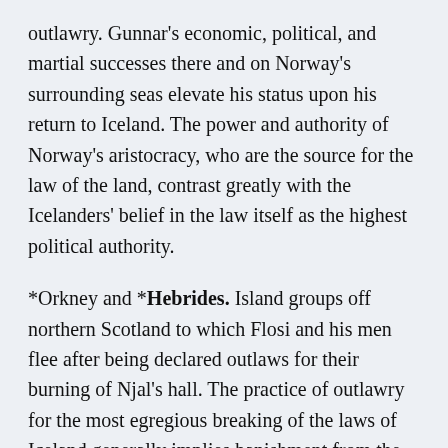outlawry. Gunnar's economic, political, and martial successes there and on Norway's surrounding seas elevate his status upon his return to Iceland. The power and authority of Norway's aristocracy, who are the source for the law of the land, contrast greatly with the Icelanders' belief in the law itself as the highest political authority.
*Orkney and *Hebrides. Island groups off northern Scotland to which Flosi and his men flee after being declared outlaws for their burning of Njal's hall. The practice of outlawry for the most egregious breaking of the laws of Iceland generally implies banishment from the homeland thus an expulsion from the sphere of the law's authority. With Earl Sigurd